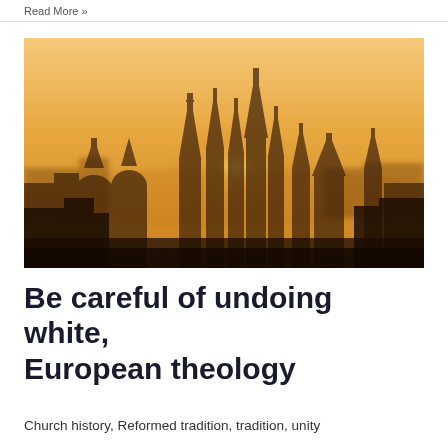Read More »
[Figure (photo): Silhouette of European city skyline with church spires and domes against a warm orange/golden sky at dusk or dawn, resembling Prague's rooftops.]
Be careful of undoing white, European theology
Church history, Reformed tradition, tradition, unity